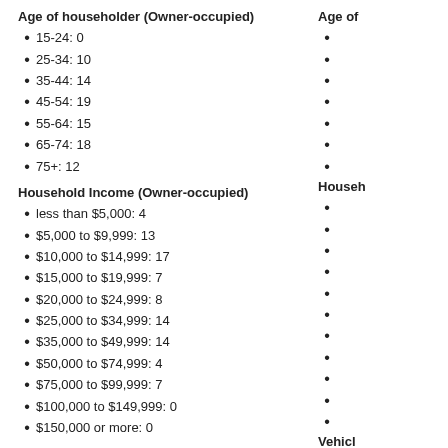Age of householder (Owner-occupied)
15-24: 0
25-34: 10
35-44: 14
45-54: 19
55-64: 15
65-74: 18
75+: 12
Household Income (Owner-occupied)
less than $5,000: 4
$5,000 to $9,999: 13
$10,000 to $14,999: 17
$15,000 to $19,999: 7
$20,000 to $24,999: 8
$25,000 to $34,999: 14
$35,000 to $49,999: 14
$50,000 to $74,999: 4
$75,000 to $99,999: 7
$100,000 to $149,999: 0
$150,000 or more: 0
Vehicles available (Owner-occupied)
No vehicle: 5
1 vehicle: 31
2 vehicles: 25
3 vehicles: 20
Age of
Househ
Vehicl